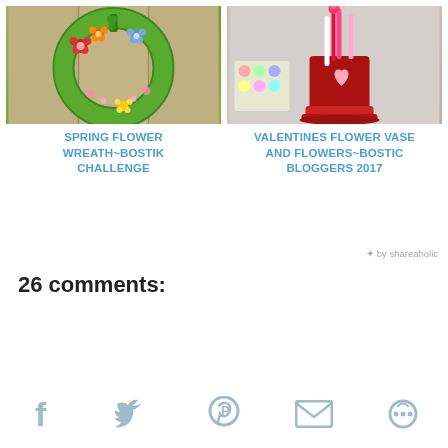[Figure (photo): Spring flower wreath on a green ring with colorful flowers on a wooden background]
SPRING FLOWER WREATH~BOSTIK CHALLENGE
[Figure (photo): Red valentines flower vase with pencils/flowers inside, on a grey background]
VALENTINES FLOWER VASE AND FLOWERS~BOSTIC BLOGGERS 2017
* by shareaholic
26 comments:
[Figure (infographic): Social sharing bar with icons: Facebook, Twitter, Pinterest, Email, More]